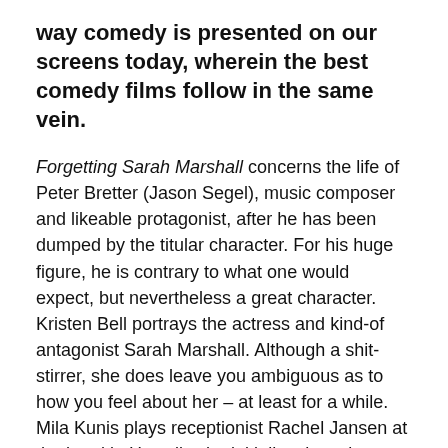way comedy is presented on our screens today, wherein the best comedy films follow in the same vein.
Forgetting Sarah Marshall concerns the life of Peter Bretter (Jason Segel), music composer and likeable protagonist, after he has been dumped by the titular character. For his huge figure, he is contrary to what one would expect, but nevertheless a great character. Kristen Bell portrays the actress and kind-of antagonist Sarah Marshall. Although a shit-stirrer, she does leave you ambiguous as to how you feel about her – at least for a while. Mila Kunis plays receptionist Rachel Jansen at the hotel in Hawaii, who initially takes pity on Segel but then ends up falling for him. She is a convincingly pretty woman who you'd